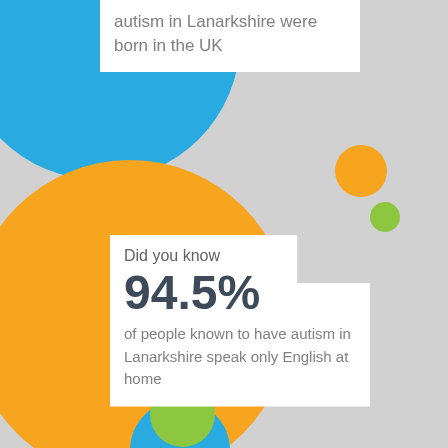autism in Lanarkshire were born in the UK
[Figure (infographic): Infographic with large blue circle top-left, large orange circle center-left, small orange circle top-right, small green circle right, and green circle bottom-left. White text boxes overlay the circles with statistics about autism in Lanarkshire.]
Did you know 94.5% of people known to have autism in Lanarkshire speak only English at home